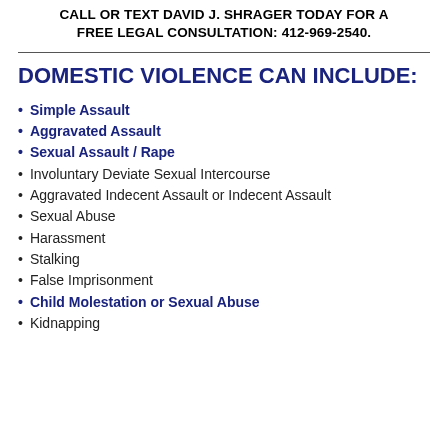CALL OR TEXT DAVID J. SHRAGER TODAY FOR A FREE LEGAL CONSULTATION: 412-969-2540.
DOMESTIC VIOLENCE CAN INCLUDE:
Simple Assault
Aggravated Assault
Sexual Assault / Rape
Involuntary Deviate Sexual Intercourse
Aggravated Indecent Assault or Indecent Assault
Sexual Abuse
Harassment
Stalking
False Imprisonment
Child Molestation or Sexual Abuse
Kidnapping